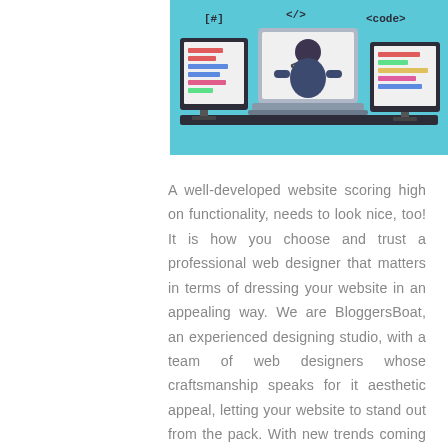[Figure (illustration): Illustration of a web developer/designer workspace with three monitors showing code elements: [#], </>, and <code> labels visible. The background is light blue with a person sitting at a desk with a laptop.]
A well-developed website scoring high on functionality, needs to look nice, too! It is how you choose and trust a professional web designer that matters in terms of dressing your website in an appealing way. We are BloggersBoat, an experienced designing studio, with a team of web designers whose craftsmanship speaks for it aesthetic appeal, letting your website to stand out from the pack. With new trends coming in and fading out, our creative designing specialists are updated, skilled and know what it really means to think out-of-